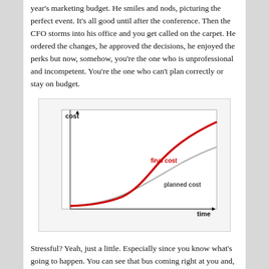year's marketing budget. He smiles and nods, picturing the perfect event. It's all good until after the conference. Then the CFO storms into his office and you get called on the carpet. He ordered the changes, he approved the decisions, he enjoyed the perks but now, somehow, you're the one who is unprofessional and incompetent. You're the one who can't plan correctly or stay on budget.
[Figure (continuous-plot): Line chart showing two curves over time: 'final cost' (red, bold, rising steeply above) and 'planned cost' (gray, rising more gradually). Y-axis labeled 'cost', x-axis labeled 'time'. Both lines start low and rise from left to right, with final cost diverging significantly above planned cost.]
Stressful? Yeah, just a little. Especially since you know what's going to happen. You can see that bus coming right at you and, despite your best planning and detailed documentation of the ambiguities and the reasons and